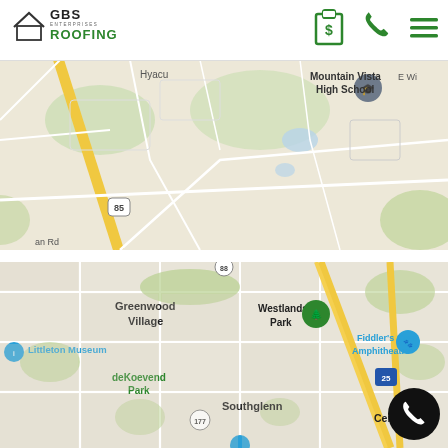[Figure (logo): GBS Enterprises Roofing logo with house/roof icon and green ROOFING text]
[Figure (other): Navigation icons: clipboard with dollar sign, phone handset, hamburger menu]
[Figure (map): Google Maps screenshot showing area with Hyder, Mountain Vista High School, US-85 highway, and 'an Rd' street label in suburban Colorado]
[Figure (map): Google Maps screenshot showing Greenwood Village, Westlands Park, Littleton Museum, deKoevend Park, Southglenn, Fiddler's Green Amphitheatre, US-25, route 177, route 88, and Centennial Colorado area]